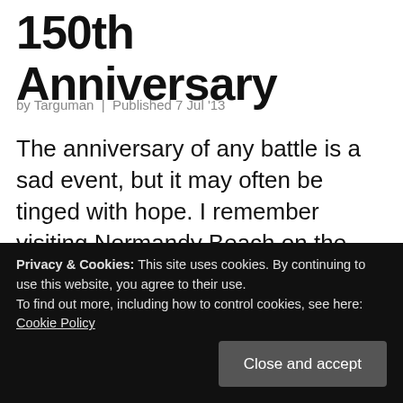150th Anniversary
by Targuman | Published 7 Jul '13
The anniversary of any battle is a sad event, but it may often be tinged with hope. I remember visiting Normandy Beach on the 40th anniversary of D-Day. Our high school band was actually chosen to play throughout England and France as part of the celebrations. We saw and met a number of D-Day survivors, most of
Privacy & Cookies: This site uses cookies. By continuing to use this website, you agree to their use.
To find out more, including how to control cookies, see here: Cookie Policy
Close and accept